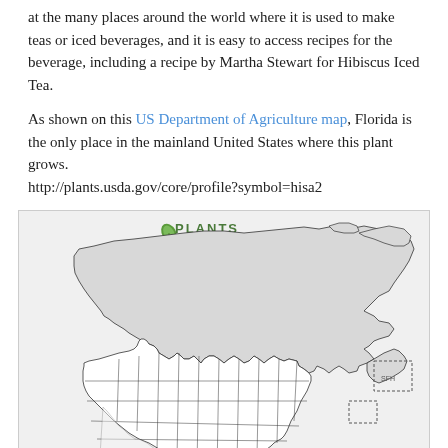at the many places around the world where it is used to make teas or iced beverages, and it is easy to access recipes for the beverage, including a recipe by Martha Stewart for Hibiscus Iced Tea.
As shown on this US Department of Agriculture map, Florida is the only place in the mainland United States where this plant grows. http://plants.usda.gov/core/profile?symbol=hisa2
[Figure (map): PLANTS Database map showing distribution of Hibiscus sabdariffa (hisa2) in North America. The map shows the US and Canada with state/province boundaries. Florida appears to be the only highlighted state in the mainland US. The map includes the PLANTS Database logo in the upper center, and a small inset box in the lower right area. A small Hawaii/Alaska inset is visible in the lower left.]